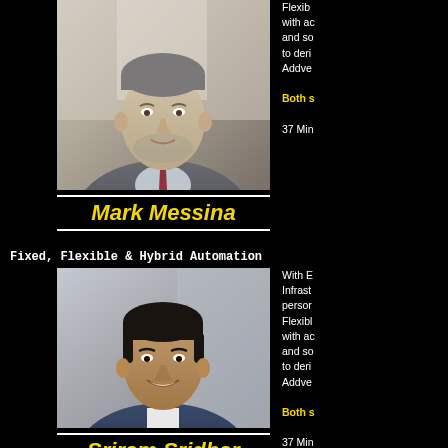[Figure (photo): Professional headshot of Mark Messina, a man in a grey suit with a red tie, light background]
Mark Messina
Fixed, Flexible & Hybrid Automation
[Figure (photo): Professional headshot of Sriram Sridhar, a man in a blue blazer, smiling, light background]
Sriram Sridhar
Flexible with ac and so to deri Addve Both s 37 Min
With E Infrast persor Flexibl with ac and so to deri Addve Both s 37 Min